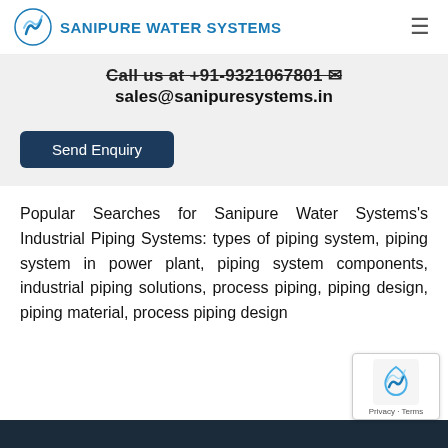SANIPURE WATER SYSTEMS
Call us at +91-9321067801
sales@sanipuresystems.in
Send Enquiry
Popular Searches for Sanipure Water Systems's Industrial Piping Systems: types of piping system, piping system in power plant, piping system components, industrial piping solutions, process piping, piping design, piping material, process piping design